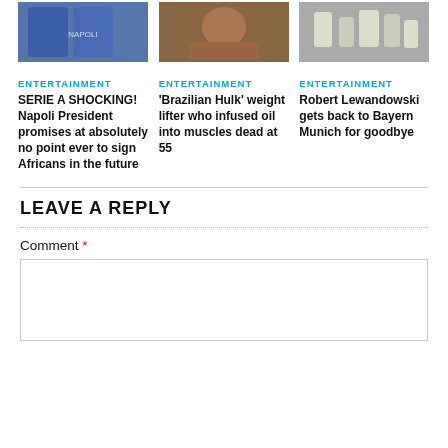[Figure (photo): Three news card images at top: football players in blue jerseys, a muscular man, and trophies on a shelf]
ENTERTAINMENT
SERIE A SHOCKING! Napoli President promises at absolutely no point ever to sign Africans in the future
ENTERTAINMENT
'Brazilian Hulk' weight lifter who infused oil into muscles dead at 55
ENTERTAINMENT
Robert Lewandowski gets back to Bayern Munich for goodbye
LEAVE A REPLY
Comment *